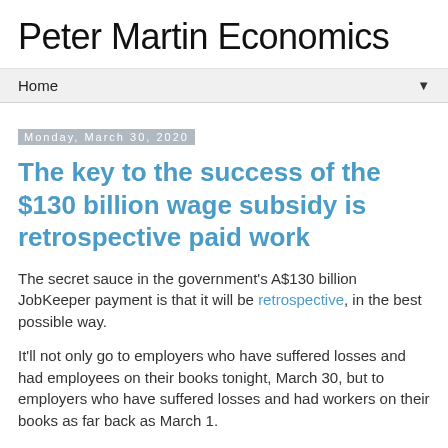Peter Martin Economics
Home ▼
Monday, March 30, 2020
The key to the success of the $130 billion wage subsidy is retrospective paid work
The secret sauce in the government's A$130 billion JobKeeper payment is that it will be retrospective, in the best possible way.
It'll not only go to employers who have suffered losses and had employees on their books tonight, March 30, but to employers who have suffered losses and had workers on their books as far back as March 1.